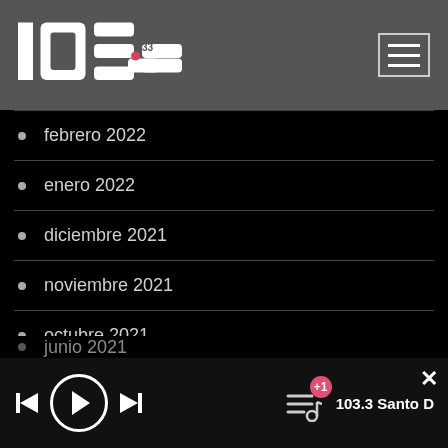103.3 FM radio station header with hamburger menu
febrero 2022
enero 2022
diciembre 2021
noviembre 2021
octubre 2021
septiembre 2021
agosto 2021
julio 2021
junio 2021
103.3 Santo D – player bar with controls, +1 playlist badge